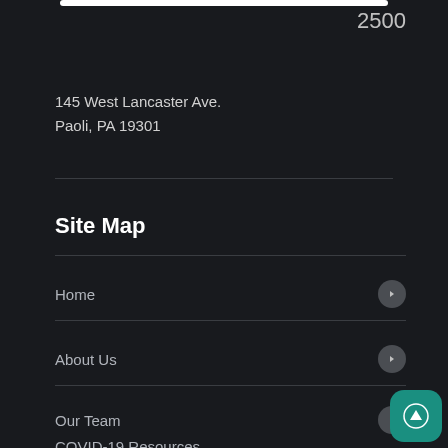2500
145 West Lancaster Ave.
Paoli, PA 19301
Site Map
Home
About Us
Our Team
COVID-19 Resources